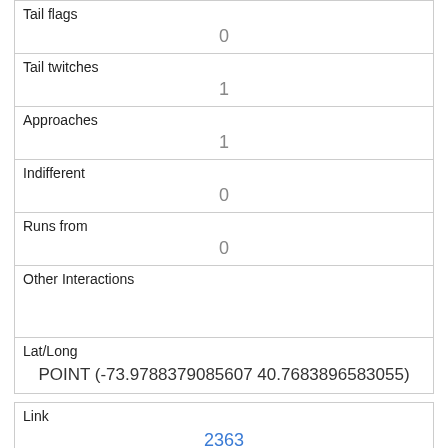| Tail flags | 0 |
| Tail twitches | 1 |
| Approaches | 1 |
| Indifferent | 0 |
| Runs from | 0 |
| Other Interactions |  |
| Lat/Long | POINT (-73.9788379085607 40.7683896583055) |
| Link | 2363 |
| rowid | 2363 |
| longitude | -73.9690638424196 |